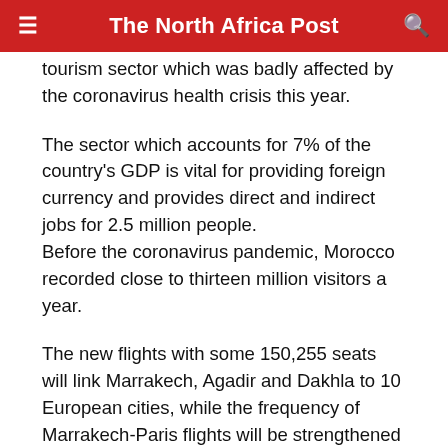The North Africa Post
tourism sector which was badly affected by the coronavirus health crisis this year.
The sector which accounts for 7% of the country's GDP is vital for providing foreign currency and provides direct and indirect jobs for 2.5 million people. Before the coronavirus pandemic, Morocco recorded close to thirteen million visitors a year.
The new flights with some 150,255 seats will link Marrakech, Agadir and Dakhla to 10 European cities, while the frequency of Marrakech-Paris flights will be strengthened to ten flights per week, according to a joint statement released by ONMT and RAM.
The city that will see its air traffic increase the most is